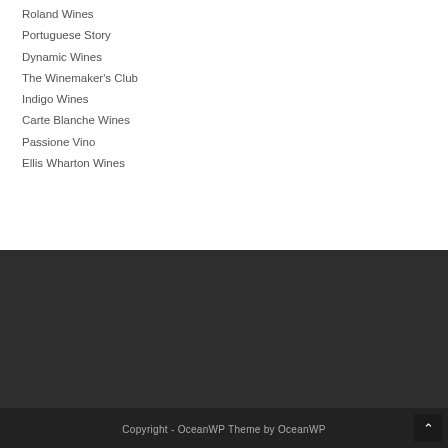Roland Wines
Portuguese Story
Dynamic Wines
The Winemaker's Club
Indigo Wines
Carte Blanche Wines
Passione Vino
Ellis Wharton Wines
Copyright - OceanWP Theme by OceanWP